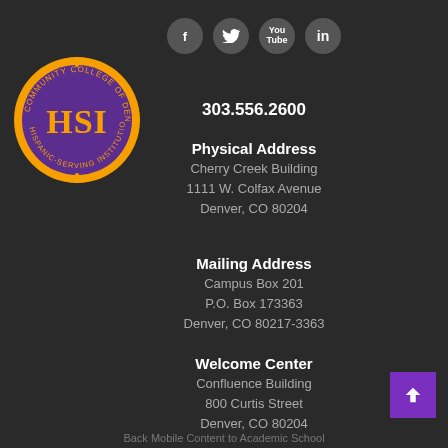[Figure (logo): Community College of Denver HSI (Hispanic-Serving Institution) circular seal logo with orange border and purple interior]
[Figure (other): Row of four social media icon buttons: Facebook (f), Twitter (bird), YouTube (You/Tube), LinkedIn (in) — dark gray circles]
303.556.2600
Physical Address
Cherry Creek Building
1111 W. Colfax Avenue
Denver, CO 80204
Mailing Address
Campus Box 201
P.O. Box 173363
Denver, CO 80217-3363
Welcome Center
Confluence Building
800 Curtis Street
Denver, CO 80204
Back Mobile Content to Academic School